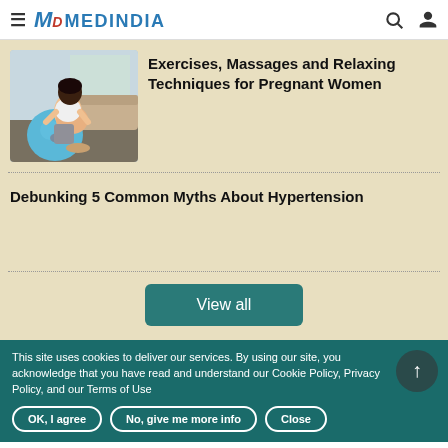MEDINDIA
Exercises, Massages and Relaxing Techniques for Pregnant Women
[Figure (photo): A pregnant woman sitting on an exercise ball in a bright room]
Debunking 5 Common Myths About Hypertension
View all
This site uses cookies to deliver our services. By using our site, you acknowledge that you have read and understand our Cookie Policy, Privacy Policy, and our Terms of Use
OK, I agree
No, give me more info
Close